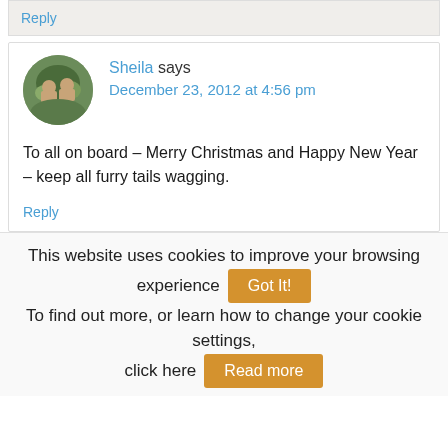Reply
Sheila says
December 23, 2012 at 4:56 pm
To all on board – Merry Christmas and Happy New Year – keep all furry tails wagging.
Reply
This website uses cookies to improve your browsing experience  Got It!  To find out more, or learn how to change your cookie settings, click here  Read more